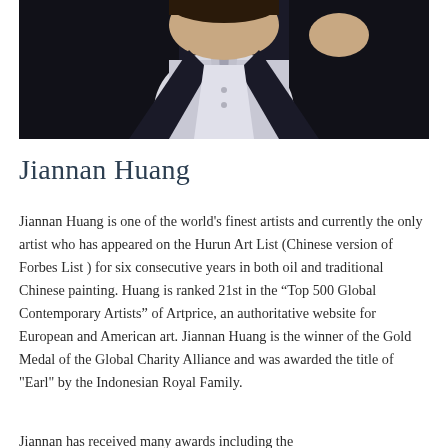[Figure (photo): Portrait photograph of Jiannan Huang, a man in a dark suit and white shirt, with a contemplative pose against a dark background.]
Jiannan Huang
Jiannan Huang is one of the world's finest artists and currently the only artist who has appeared on the Hurun Art List (Chinese version of Forbes List ) for six consecutive years in both oil and traditional Chinese painting. Huang is ranked 21st in the “Top 500 Global Contemporary Artists” of Artprice, an authoritative website for European and American art. Jiannan Huang is the winner of the Gold Medal of the Global Charity Alliance and was awarded the title of "Earl" by the Indonesian Royal Family.
Jiannan has received many awards including the